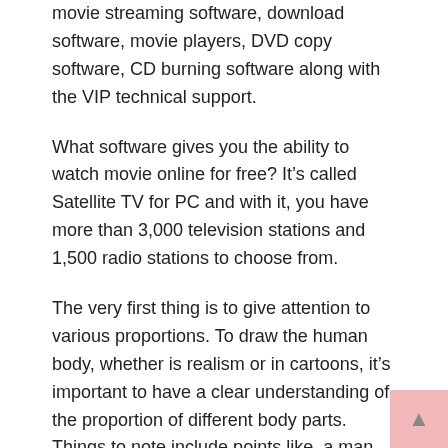movie streaming software, download software, movie players, DVD copy software, CD burning software along with the VIP technical support.
What software gives you the ability to watch movie online for free? It’s called Satellite TV for PC and with it, you have more than 3,000 television stations and 1,500 radio stations to choose from.
The very first thing is to give attention to various proportions. To draw the human body, whether is realism or in cartoons, it’s important to have a clear understanding of the proportion of different body parts. Things to note include points like, a man usually is approximately seven head high, the